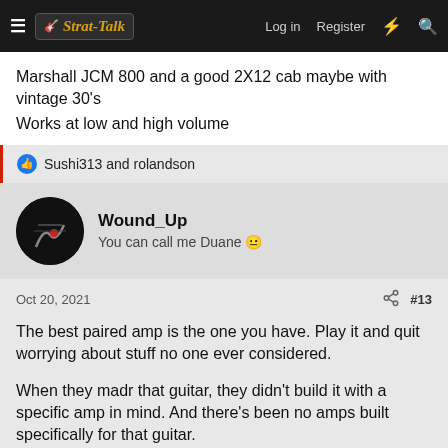Strat-Talk | Log in | Register
Marshall JCM 800 and a good 2X12 cab maybe with vintage 30's
Works at low and high volume
👍 Sushi313 and rolandson
Wound_Up
You can call me Duane 😐
Oct 20, 2021  #13
The best paired amp is the one you have. Play it and quit worrying about stuff no one ever considered.
When they madr that guitar, they didn't build it with a specific amp in mind. And there's been no amps built specifically for that guitar.